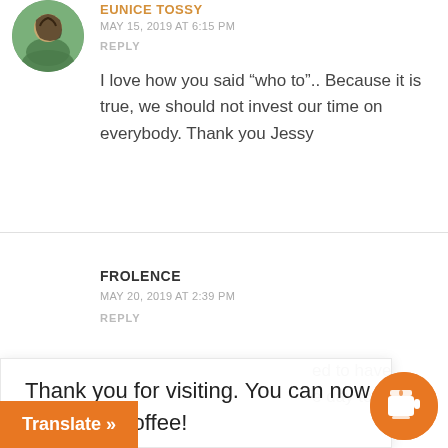[Figure (photo): Circular avatar photo of a person with braided hair looking down, against a green background]
EUNICE TOSSY
MAY 15, 2019 AT 6:15 PM
REPLY
I love how you said “who to”.. Because it is true, we should not invest our time on everybody. Thank you Jessy
FROLENCE
MAY 20, 2019 AT 2:39 PM
REPLY
Thank you for visiting. You can now buy me a coffee!
ed to have
e day to
Translate »